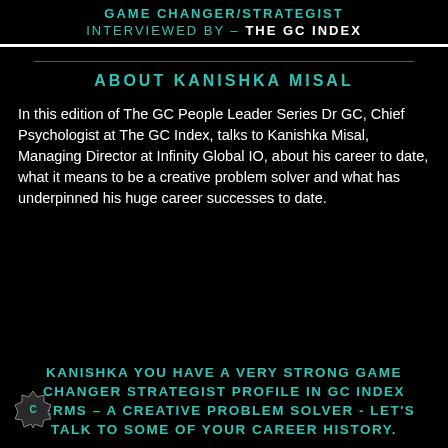GAME CHANGER/STRATEGIST
INTERVIEWED BY – THE GC INDEX
ABOUT KANISHKA MISAL
In this edition of The GC People Leader Series Dr GC, Chief Psychologist at The GC Index, talks to Kanishka Misal, Managing Director at Infinity Global IO, about his career to date, what it means to be a creative problem solver and what has underpinned his huge career successes to date.
KANISHKA YOU HAVE A VERY STRONG GAME CHANGER STRATEGIST PROFILE IN GC INDEX TERMS – A CREATIVE PROBLEM SOLVER - LET'S TALK TO SOME OF YOUR CAREER HISTORY.